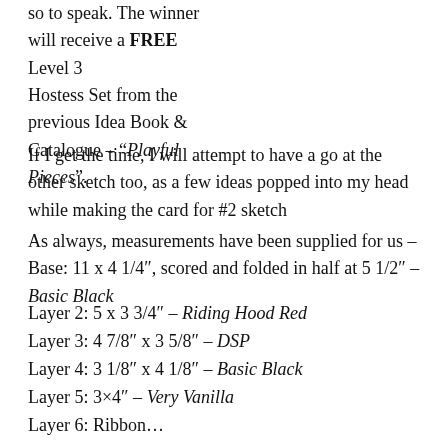so to speak.  The winner will receive a FREE Level 3 Hostess Set from the previous Idea Book & Catalogue – "Playful Pieces".
If I get the time, I will attempt to have a go at the other sketch too, as a few ideas popped into my head while making the card for #2 sketch
As always, measurements have been supplied for us – Base: 11 x 4 1/4", scored and folded in half at 5 1/2" – Basic Black
Layer 2: 5 x 3 3/4"  – Riding Hood Red
Layer 3: 4 7/8" x 3 5/8"  – DSP
Layer 4: 3 1/8" x 4 1/8" – Basic Black
Layer 5: 3×4" – Very Vanilla
Layer 6: Ribbon… and to do…